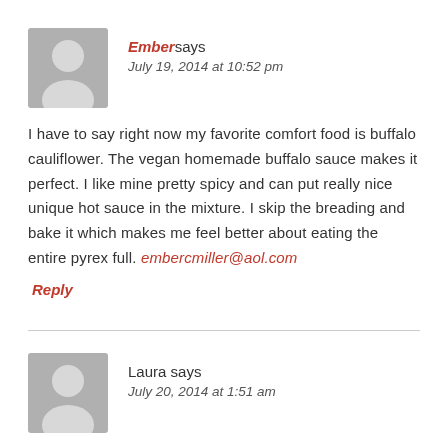Ember says
July 19, 2014 at 10:52 pm
I have to say right now my favorite comfort food is buffalo cauliflower. The vegan homemade buffalo sauce makes it perfect. I like mine pretty spicy and can put really nice unique hot sauce in the mixture. I skip the breading and bake it which makes me feel better about eating the entire pyrex full. embercmiller@aol.com
Reply
Laura says
July 20, 2014 at 1:51 am